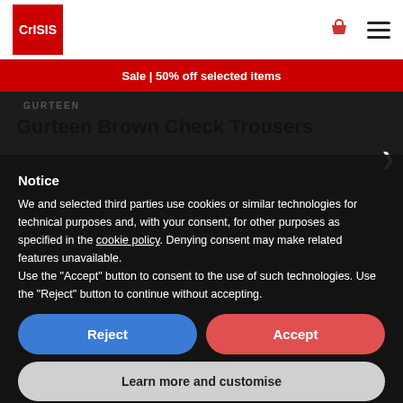[Figure (logo): Crisis charity logo — red square with white 'CrISIS' text]
Sale | 50% off selected items
GURTEEN
Gurteen Brown Check Trousers
Notice
We and selected third parties use cookies or similar technologies for technical purposes and, with your consent, for other purposes as specified in the cookie policy. Denying consent may make related features unavailable.
Use the "Accept" button to consent to the use of such technologies. Use the "Reject" button to continue without accepting.
Reject
Accept
Learn more and customise